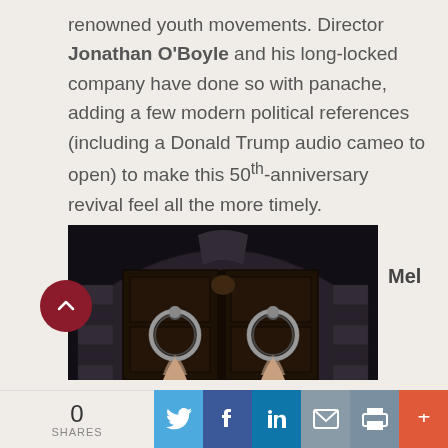renowned youth movements. Director Jonathan O'Boyle and his long-locked company have done so with panache, adding a few modern political references (including a Donald Trump audio cameo to open) to make this 50th-anniversary revival feel all the more timely.
[Figure (photo): Dark photo of large wooden double doors with metal ring knockers set in a stone arch, with two hands reaching up to grasp the rings]
Mel
0 SHARES | Twitter | Facebook | LinkedIn | Email | Print | More